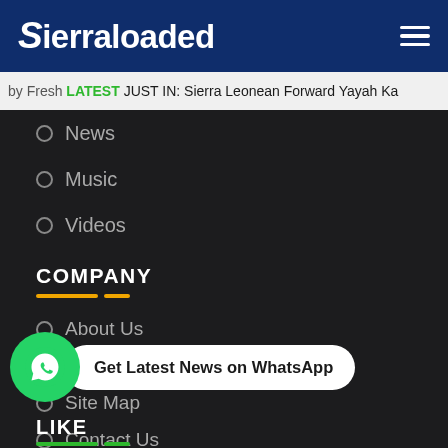Sierraloaded
by Fresh LATEST JUST IN: Sierra Leonean Forward Yayah Ka
News
Music
Videos
COMPANY
About Us
Advertising
Site Map
Contact Us
Get Latest News on WhatsApp
LIKE